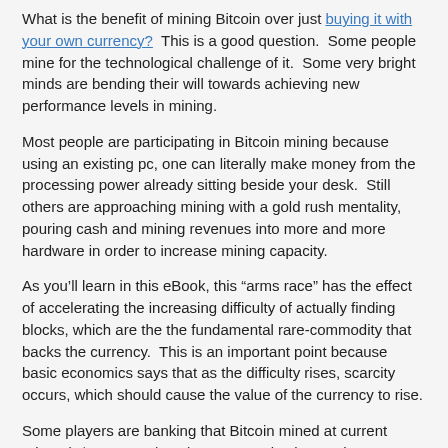What is the benefit of mining Bitcoin over just buying it with your own currency?  This is a good question.  Some people mine for the technological challenge of it.  Some very bright minds are bending their will towards achieving new performance levels in mining.
Most people are participating in Bitcoin mining because using an existing pc, one can literally make money from the processing power already sitting beside your desk.  Still others are approaching mining with a gold rush mentality, pouring cash and mining revenues into more and more hardware in order to increase mining capacity.
As you’ll learn in this eBook, this “arms race” has the effect of accelerating the increasing difficulty of actually finding blocks, which are the the fundamental rare-commodity that backs the currency.  This is an important point because basic economics says that as the difficulty rises, scarcity occurs, which should cause the value of the currency to rise.
Some players are banking that Bitcoin mined at current prices (~$6.75 USD/BTC) may someday be worth many times that amount, due to the fact that difficulty will rise over time – its part of what makes up the Bitcoin protocol itself.  More on that later.
So, why might you mine for Bitcoins?  There are lots